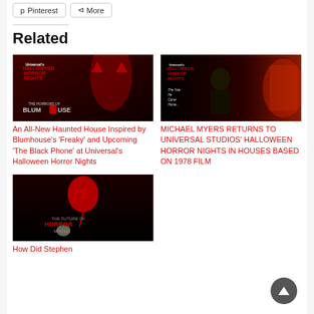Pinterest   More
Related
[Figure (photo): Universal's Halloween Horror Nights – The Horrors of Blumhouse promotional image with a red devil figure]
An All-New Haunted House Inspired by Blumhouse's 'Freaky' and Upcoming 'The Black Phone' at Universal's Halloween Horror Nights
[Figure (photo): Universal's Halloween Horror Nights – Michael Myers promotional image with text 'The Year He Came Home...']
MICHAEL MYERS RETURNS TO UNIVERSAL STUDIOS' HALLOWEEN HORROR NIGHTS IN HOUSES BASED ON 1978 FILM
[Figure (photo): IT – The Future of Horror Movies promotional image with Pennywise and red balloon]
How Did Stephen